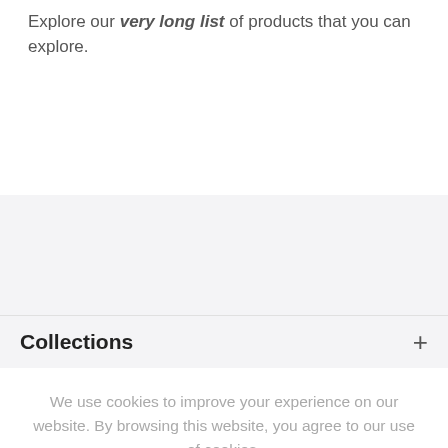Explore our very long list of products that you can explore.
Collections
We use cookies to improve your experience on our website. By browsing this website, you agree to our use of cookies.
ACCEPT